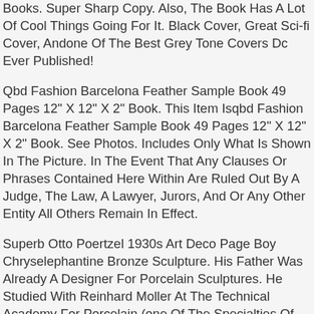Books. Super Sharp Copy. Also, The Book Has A Lot Of Cool Things Going For It. Black Cover, Great Sci-fi Cover, Andone Of The Best Grey Tone Covers Dc Ever Published!
Qbd Fashion Barcelona Feather Sample Book 49 Pages 12" X 12" X 2" Book. This Item Isqbd Fashion Barcelona Feather Sample Book 49 Pages 12" X 12" X 2" Book. See Photos. Includes Only What Is Shown In The Picture. In The Event That Any Clauses Or Phrases Contained Here Within Are Ruled Out By A Judge, The Law, A Lawyer, Jurors, And Or Any Other Entity All Others Remain In Effect.
Superb Otto Poertzel 1930s Art Deco Page Boy Chryselephantine Bronze Sculpture. His Father Was Already A Designer For Porcelain Sculptures. He Studied With Reinhard Moller At The Technical Academy For Porcelain (one Of The Specialties Of The Industrial School). Here He Received A Grades In The Subjects Of Drawing, Modeling, Shaping, And Anatomy.